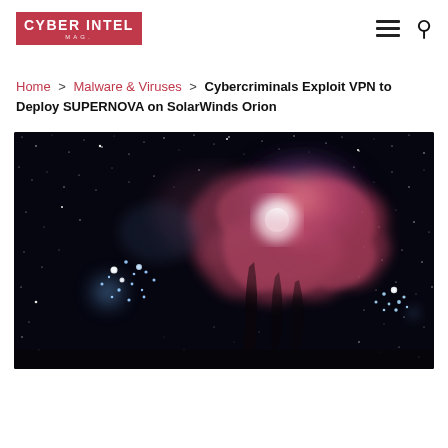CYBER INTEL
Home > Malware & Viruses > Cybercriminals Exploit VPN to Deploy SUPERNOVA on SolarWinds Orion
[Figure (photo): Photograph of the Orion Nebula and surrounding space — a deep-field astrophotography image showing the Great Orion Nebula (M42) with bright pink/red gas clouds, blue star clusters (including the Horsehead Nebula area), and a dense starfield against a black background.]